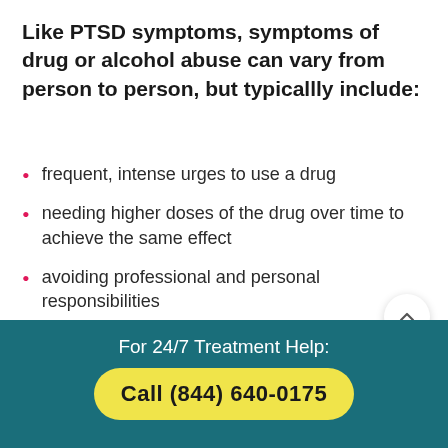Like PTSD symptoms, symptoms of drug or alcohol abuse can vary from person to person, but typicallly include:
frequent, intense urges to use a drug
needing higher doses of the drug over time to achieve the same effect
avoiding professional and personal responsibilities
withdrawing from family members and friends
self-destructive behavior, such as driving while
For 24/7 Treatment Help: Call (844) 640-0175